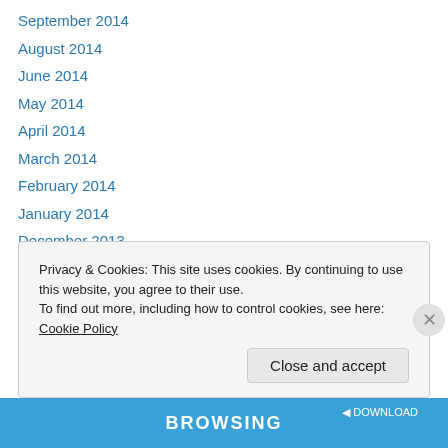September 2014
August 2014
June 2014
May 2014
April 2014
March 2014
February 2014
January 2014
December 2013
November 2013
October 2013
September 2013
Privacy & Cookies: This site uses cookies. By continuing to use this website, you agree to their use. To find out more, including how to control cookies, see here: Cookie Policy
Close and accept